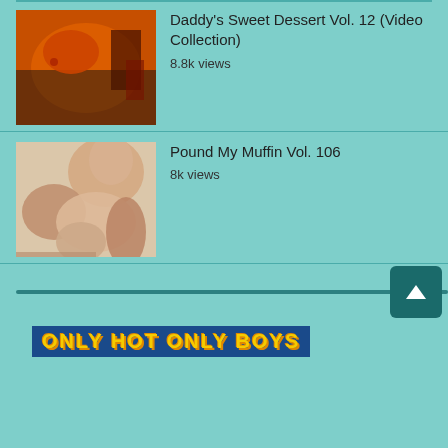[Figure (photo): Thumbnail image for Daddy's Sweet Dessert Vol. 12 video]
Daddy's Sweet Dessert Vol. 12 (Video Collection)
8.8k views
[Figure (photo): Thumbnail image for Pound My Muffin Vol. 106 video]
Pound My Muffin Vol. 106
8k views
[Figure (other): Scroll bar with up arrow button]
ONLY HOT ONLY BOYS